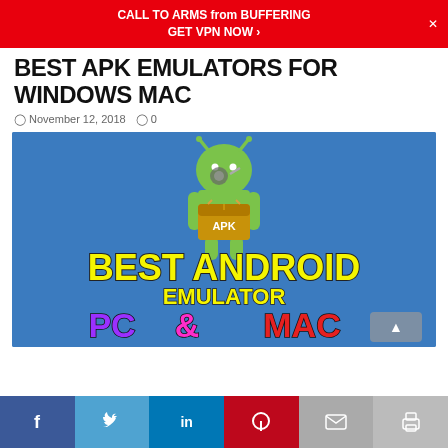CALL TO ARMS from BUFFERING GET VPN NOW >
BEST APK EMULATORS FOR WINDOWS MAC
November 12, 2018   0
[Figure (illustration): Promotional image with blue background showing a green Android robot holding a box labeled APK, with text 'BEST ANDROID EMULATOR PC & MAC' in colorful bold lettering]
[Figure (infographic): Social sharing bar with buttons for Facebook, Twitter, LinkedIn, Pinterest, Email, and Print]